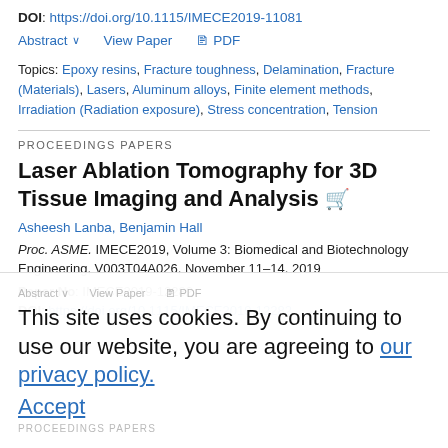DOI: https://doi.org/10.1115/IMECE2019-11081
Abstract ∨   View Paper   🖹 PDF
Topics: Epoxy resins, Fracture toughness, Delamination, Fracture (Materials), Lasers, Aluminum alloys, Finite element methods, Irradiation (Radiation exposure), Stress concentration, Tension
PROCEEDINGS PAPERS
Laser Ablation Tomography for 3D Tissue Imaging and Analysis 🛒
Asheesh Lanba, Benjamin Hall
Proc. ASME. IMECE2019, Volume 3: Biomedical and Biotechnology Engineering, V003T04A026, November 11–14, 2019
Paper No: IMECE2019-12282
DOI: https://doi.org/10.1115/IMECE2019-12282
This site uses cookies. By continuing to use our website, you are agreeing to our privacy policy. Accept